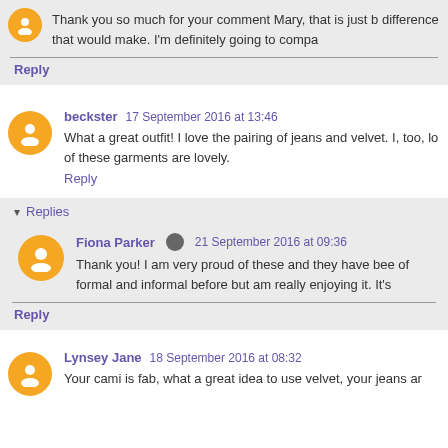Thank you so much for your comment Mary, that is just b... difference that would make. I'm definitely going to compa...
Reply
beckster  17 September 2016 at 13:46
What a great outfit! I love the pairing of jeans and velvet. I, too, lo... of these garments are lovely.
Reply
Replies
Fiona Parker  21 September 2016 at 09:36
Thank you! I am very proud of these and they have bee... of formal and informal before but am really enjoying it. It's...
Reply
Lynsey Jane  18 September 2016 at 08:32
Your cami is fab, what a great idea to use velvet, your jeans ar...